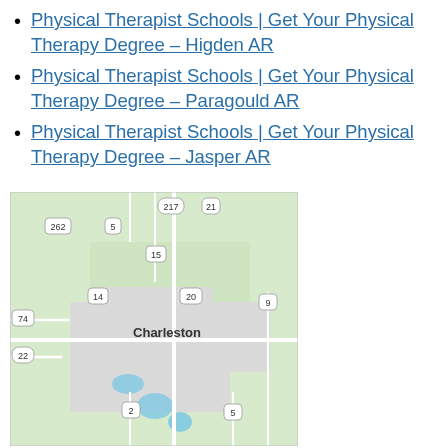Physical Therapist Schools | Get Your Physical Therapy Degree – Higden AR
Physical Therapist Schools | Get Your Physical Therapy Degree – Paragould AR
Physical Therapist Schools | Get Your Physical Therapy Degree – Jasper AR
[Figure (map): Road map of Charleston, AR area showing highway routes 2, 5, 9, 14, 15, 20, 21, 22, 74, 217, 262 around the town of Charleston.]